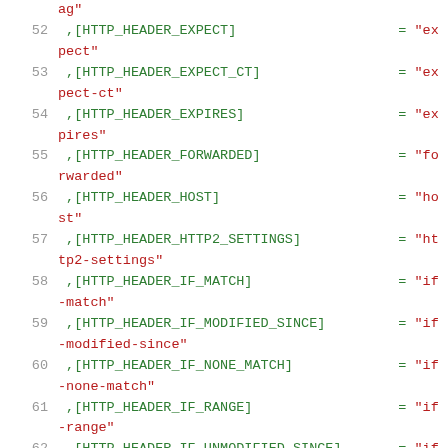ag"
52   ,[HTTP_HEADER_EXPECT]                    = "expect"
53   ,[HTTP_HEADER_EXPECT_CT]                 = "expect-ct"
54   ,[HTTP_HEADER_EXPIRES]                   = "expires"
55   ,[HTTP_HEADER_FORWARDED]                 = "forwarded"
56   ,[HTTP_HEADER_HOST]                      = "host"
57   ,[HTTP_HEADER_HTTP2_SETTINGS]            = "http2-settings"
58   ,[HTTP_HEADER_IF_MATCH]                  = "if-match"
59   ,[HTTP_HEADER_IF_MODIFIED_SINCE]         = "if-modified-since"
60   ,[HTTP_HEADER_IF_NONE_MATCH]             = "if-none-match"
61   ,[HTTP_HEADER_IF_RANGE]                  = "if-range"
62   ,[HTTP_HEADER_IF_UNMODIFIED_SINCE]       = "if